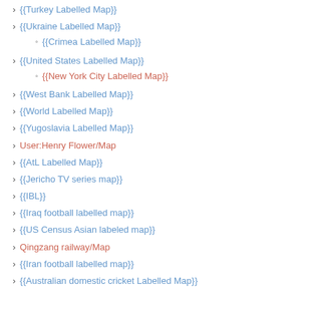{{Turkey Labelled Map}}
{{Ukraine Labelled Map}}
{{Crimea Labelled Map}}
{{United States Labelled Map}}
{{New York City Labelled Map}}
{{West Bank Labelled Map}}
{{World Labelled Map}}
{{Yugoslavia Labelled Map}}
User:Henry Flower/Map
{{AtL Labelled Map}}
{{Jericho TV series map}}
{{IBL}}
{{Iraq football labelled map}}
{{US Census Asian labeled map}}
Qingzang railway/Map
{{Iran football labelled map}}
{{Australian domestic cricket Labelled Map}}